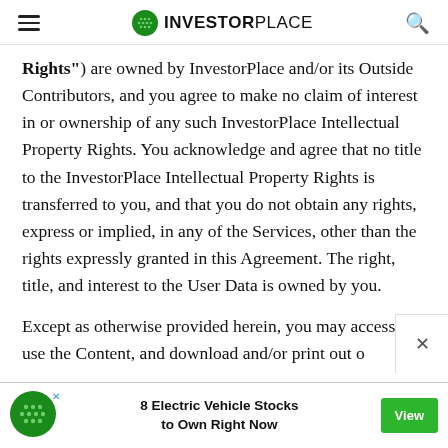INVESTORPLACE
"Rights") are owned by InvestorPlace and/or its Outside Contributors, and you agree to make no claim of interest in or ownership of any such InvestorPlace Intellectual Property Rights. You acknowledge and agree that no title to the InvestorPlace Intellectual Property Rights is transferred to you, and that you do not obtain any rights, express or implied, in any of the Services, other than the rights expressly granted in this Agreement. The right, title, and interest to the User Data is owned by you.
Except as otherwise provided herein, you may access and use the Content, and download and/or print out o
[Figure (logo): InvestorPlace advertisement banner with green logo, text '8 Electric Vehicle Stocks to Own Right Now', and a green 'View' button]